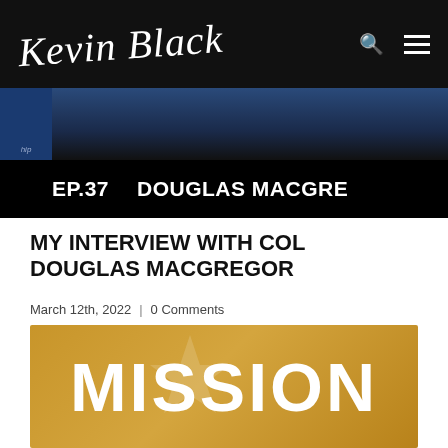Kevin Black (logo/signature) — navigation with search and menu icons
[Figure (screenshot): Episode banner: dark background with blue tones at top, black bar at bottom showing 'EP.37  DOUGLAS MACGRE...' in bold white text, small shield/badge icon at left]
MY INTERVIEW WITH COL DOUGLAS MACGREGOR
March 12th, 2022  |  0 Comments
[Figure (photo): Gold/tan textured background (possibly stone or wall) with large bold white text reading 'MISSION' partially visible, with a faded star shape in the background]